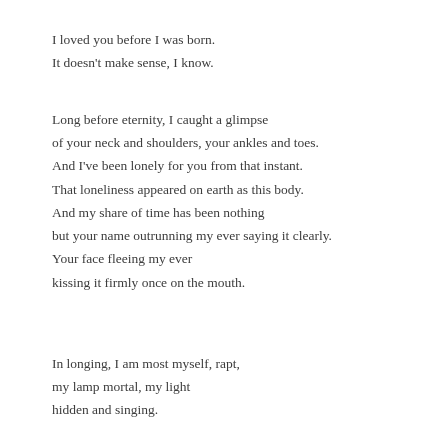I loved you before I was born.
It doesn't make sense, I know.
Long before eternity, I caught a glimpse
of your neck and shoulders, your ankles and toes.
And I've been lonely for you from that instant.
That loneliness appeared on earth as this body.
And my share of time has been nothing
but your name outrunning my ever saying it clearly.
Your face fleeing my ever
kissing it firmly once on the mouth.
In longing, I am most myself, rapt,
my lamp mortal, my light
hidden and singing.